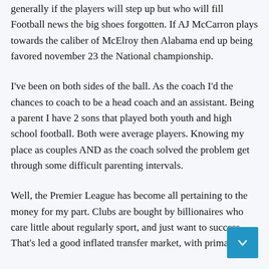generally if the players will step up but who will fill Football news the big shoes forgotten. If AJ McCarron plays towards the caliber of McElroy then Alabama end up being favored november 23 the National championship.
I've been on both sides of the ball. As the coach I'd the chances to coach to be a head coach and an assistant. Being a parent I have 2 sons that played both youth and high school football. Both were average players. Knowing my place as couples AND as the coach solved the problem get through some difficult parenting intervals.
Well, the Premier League has become all pertaining to the money for my part. Clubs are bought by billionaires who care little about regularly sport, and just want to success. That's led a good inflated transfer market, with prima